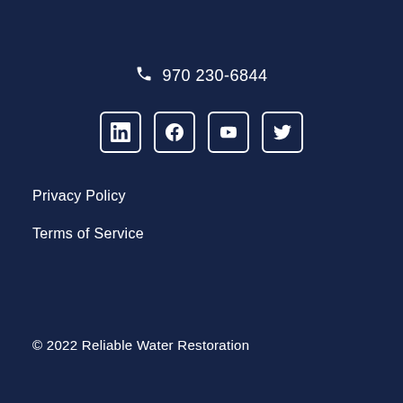970 230-6844
[Figure (illustration): Row of four social media icons: LinkedIn, Facebook, YouTube, Twitter — white outlined rounded squares on dark navy background]
Privacy Policy
Terms of Service
© 2022 Reliable Water Restoration